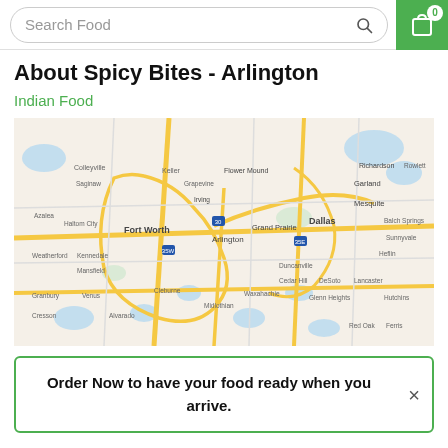Search Food
About Spicy Bites - Arlington
Indian Food
[Figure (map): Google map showing the Dallas-Fort Worth metroplex area, with Fort Worth, Arlington, Grand Prairie, Dallas, Garland, Mesquite, and surrounding cities visible. Major highways and roads shown in yellow on a light beige background.]
Order Now to have your food ready when you arrive.